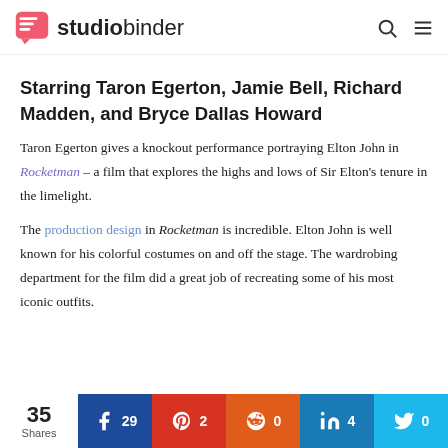studiobinder
Starring Taron Egerton, Jamie Bell, Richard Madden, and Bryce Dallas Howard
Taron Egerton gives a knockout performance portraying Elton John in Rocketman – a film that explores the highs and lows of Sir Elton's tenure in the limelight.
The production design in Rocketman is incredible. Elton John is well known for his colorful costumes on and off the stage. The wardrobing department for the film did a great job of recreating some of his most iconic outfits.
35 Shares | Facebook 29 | Pinterest 2 | Reddit 0 | LinkedIn 4 | Twitter 0